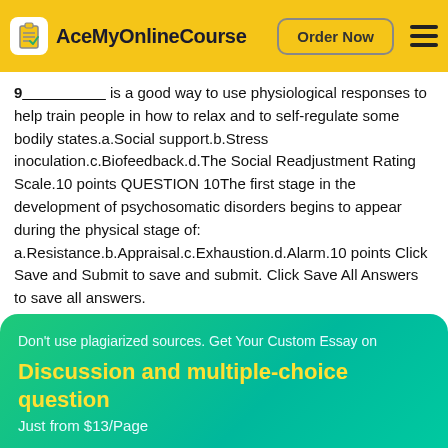AceMyOnlineCourse | Order Now
9__________ is a good way to use physiological responses to help train people in how to relax and to self-regulate some bodily states.a.Social support.b.Stress inoculation.c.Biofeedback.d.The Social Readjustment Rating Scale.10 points QUESTION 10The first stage in the development of psychosomatic disorders begins to appear during the physical stage of: a.Resistance.b.Appraisal.c.Exhaustion.d.Alarm.10 points Click Save and Submit to save and submit. Click Save All Answers to save all answers.
Don't use plagiarized sources. Get Your Custom Essay on
Discussion and multiple-choice question
Just from $13/Page